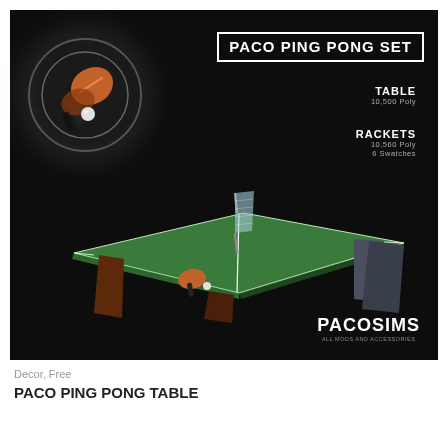[Figure (illustration): Product listing image for Paco Ping Pong Set. Dark background with a circular icon showing a ping pong paddle and ball in the upper left. Title 'PACO PING PONG SET' in a white-bordered box upper right. Text labels: TABLE 10,500 Poly and RACKETS 10,560 Poly / 6 Swatches on the right. 3D rendered ping pong table with green surface, white lines, and net in the center of the image. PACOSIMS logo in the lower right.]
Decor, Free
PACO PING PONG TABLE